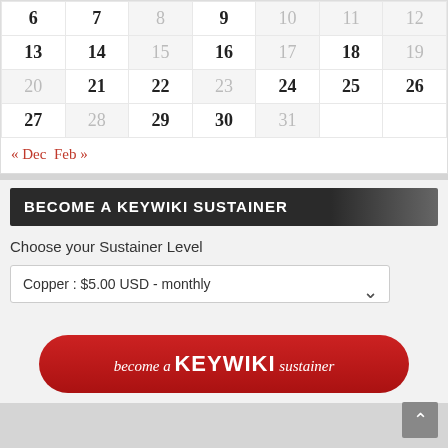| 6 | 7 | 8 | 9 | 10 | 11 | 12 |
| 13 | 14 | 15 | 16 | 17 | 18 | 19 |
| 20 | 21 | 22 | 23 | 24 | 25 | 26 |
| 27 | 28 | 29 | 30 | 31 |  |  |
« Dec  Feb »
BECOME A KEYWIKI SUSTAINER
Choose your Sustainer Level
Copper : $5.00 USD - monthly
[Figure (other): Red rounded button with text: become a KEYWIKI sustainer]